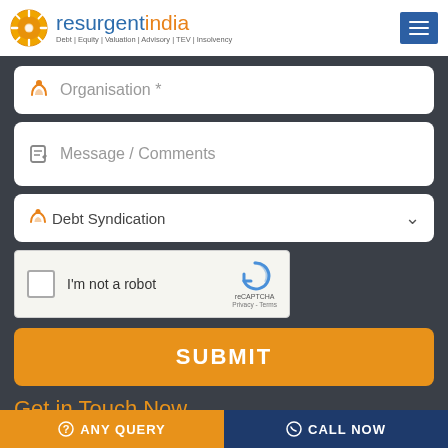[Figure (logo): Resurgent India logo with orange wheel icon and text 'resurgentindia' in blue/orange. Tagline: Debt | Equity | Valuation | Advisory | TEV | Insolvency]
Organisation *
Message / Comments
Debt Syndication
I'm not a robot
reCAPTCHA
Privacy - Terms
SUBMIT
Get in Touch Now
ANY QUERY
CALL NOW